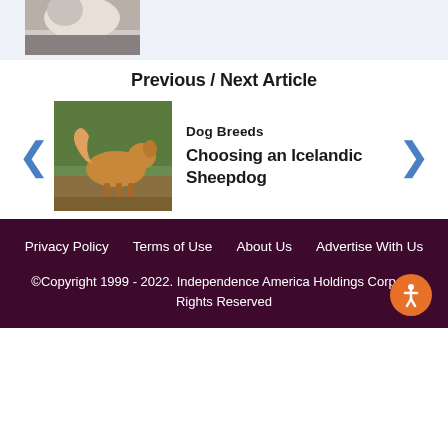[Figure (photo): Partial photo of a dog (white/light colored) at the top of the page]
Previous / Next Article
[Figure (photo): Photo of an Icelandic Sheepdog (brown/golden colored dog) walking outdoors]
Dog Breeds
Choosing an Icelandic Sheepdog
Privacy Policy   Terms of Use   About Us   Advertise With Us
©Copyright 1999 - 2022. Independence America Holdings Corp. All Rights Reserved